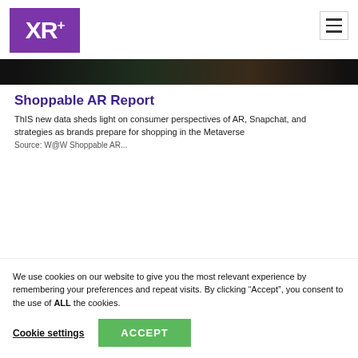[Figure (logo): XR+ logo: white text 'XR+' on purple background square]
[Figure (photo): Dark banner image of a webpage article header showing a blurred product/shopping scene]
Shoppable AR Report
ThIS new data sheds light on consumer perspectives of AR, Snapchat, and strategies as brands prepare for shopping in the Metaverse
Source: W@W Shoppable AR...
We use cookies on our website to give you the most relevant experience by remembering your preferences and repeat visits. By clicking “Accept”, you consent to the use of ALL the cookies.
Cookie settings
ACCEPT